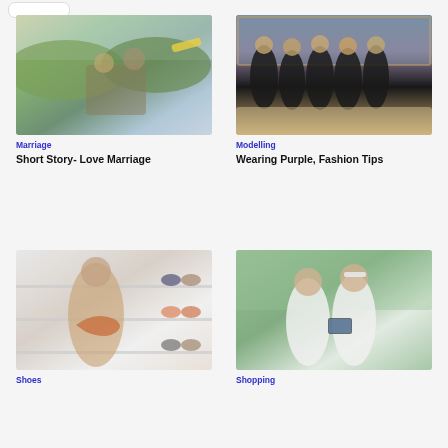[Figure (photo): Couple taking selfie in car with mountains in background]
Marriage
Short Story- Love Marriage
[Figure (photo): Group of women in black dresses sitting on sofa]
Modelling
Wearing Purple, Fashion Tips
[Figure (photo): Woman holding a high heel shoe in a shoe store]
Shoes
[Figure (photo): Two young women looking at a smartphone outdoors]
Shopping